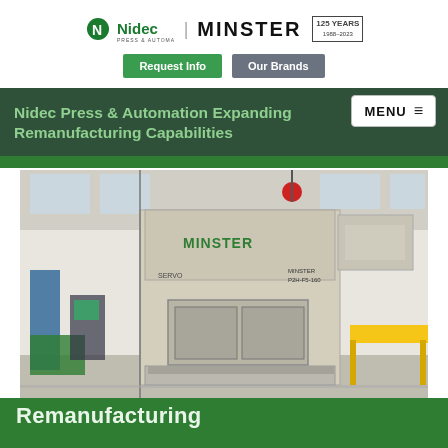Nidec Press & Automation / MINSTER 125 YEARS | Request Info | Our Brands
Nidec Press & Automation Expanding Remanufacturing Capabilities
[Figure (photo): A large Minster servo press (model P2H-F5-160) in an industrial manufacturing facility with yellow overhead crane visible in background]
Remanufacturing